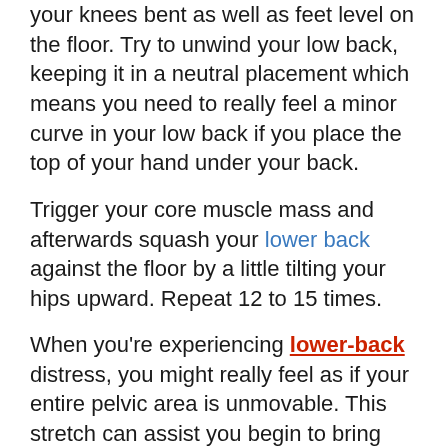your knees bent as well as feet level on the floor. Try to unwind your low back, keeping it in a neutral placement which means you need to really feel a minor curve in your low back if you place the top of your hand under your back.
Trigger your core muscle mass and afterwards squash your lower back against the floor by a little tilting your hips upward. Repeat 12 to 15 times.
When you're experiencing lower-back distress, you might really feel as if your entire pelvic area is unmovable. This stretch can assist you begin to bring some activity back to this area carefully.